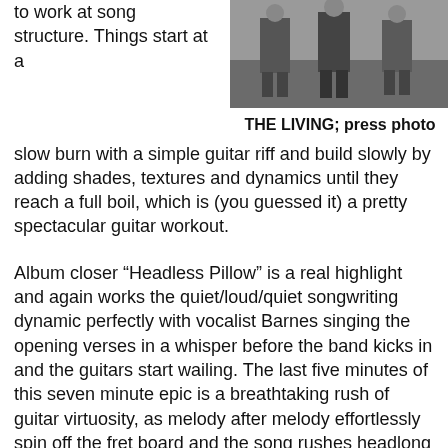to work at song structure. Things start at a
[Figure (photo): Black and white press photo of the band The Living, three members standing outdoors]
THE LIVING; press photo
slow burn with a simple guitar riff and build slowly by adding shades, textures and dynamics until they reach a full boil, which is (you guessed it) a pretty spectacular guitar workout.
Album closer “Headless Pillow” is a real highlight and again works the quiet/loud/quiet songwriting dynamic perfectly with vocalist Barnes singing the opening verses in a whisper before the band kicks in and the guitars start wailing. The last five minutes of this seven minute epic is a breathtaking rush of guitar virtuosity, as melody after melody effortlessly spin off the fret board and the song rushes headlong towards the finish line. But not before the band masterfully drop the bottom out of the song like a perfectly thrown curveball in game seven of the World Series – and it ends in a whisper. Beautifully done.